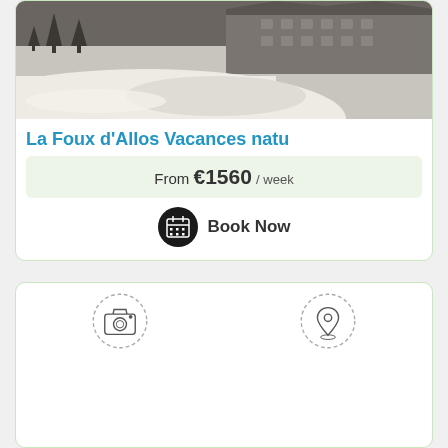[Figure (photo): Snowy ski resort exterior with building/chalet in background and snow-covered slope in foreground]
La Foux d'Allos Vacances natu
From €1560 / week
Book Now
[Figure (other): Two dashed-circle icons: a camera icon on the left and a map pin/location icon on the right, serving as placeholder image and location sections]